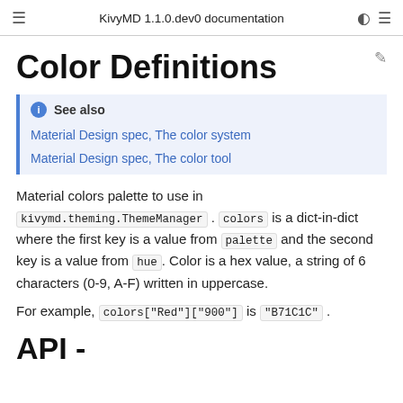KivyMD 1.1.0.dev0 documentation
Color Definitions
See also
Material Design spec, The color system
Material Design spec, The color tool
Material colors palette to use in kivymd.theming.ThemeManager. colors is a dict-in-dict where the first key is a value from palette and the second key is a value from hue. Color is a hex value, a string of 6 characters (0-9, A-F) written in uppercase.
For example, colors["Red"]["900"] is "B71C1C".
API -